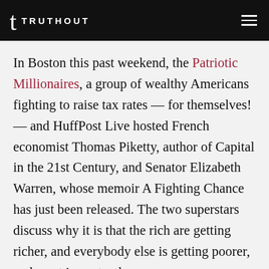TRUTHOUT
In Boston this past weekend, the Patriotic Millionaires, a group of wealthy Americans fighting to raise tax rates — for themselves! — and HuffPost Live hosted French economist Thomas Piketty, author of Capital in the 21st Century, and Senator Elizabeth Warren, whose memoir A Fighting Chance has just been released. The two superstars discuss why it is that the rich are getting richer, and everybody else is getting poorer, and most importantly,